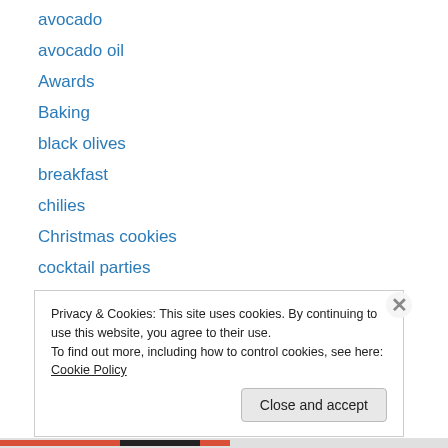avocado
avocado oil
Awards
Baking
black olives
breakfast
chilies
Christmas cookies
cocktail parties
cookies
dairy-free
dinner parties
Easy Entertaining
Privacy & Cookies: This site uses cookies. By continuing to use this website, you agree to their use. To find out more, including how to control cookies, see here: Cookie Policy
Close and accept